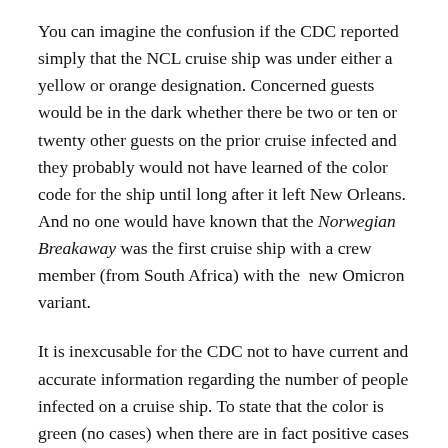You can imagine the confusion if the CDC reported simply that the NCL cruise ship was under either a yellow or orange designation. Concerned guests would be in the dark whether there be two or ten or twenty other guests on the prior cruise infected and they probably would not have learned of the color code for the ship until long after it left New Orleans. And no one would have known that the Norwegian Breakaway was the first cruise ship with a crew member (from South Africa) with the  new Omicron variant.
It is inexcusable for the CDC not to have current and accurate information regarding the number of people infected on a cruise ship. To state that the color is green (no cases) when there are in fact positive cases is a disservice to the public. Accurate information from the